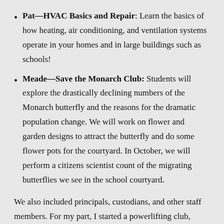Pat—HVAC Basics and Repair: Learn the basics of how heating, air conditioning, and ventilation systems operate in your homes and in large buildings such as schools!
Meade—Save the Monarch Club: Students will explore the drastically declining numbers of the Monarch butterfly and the reasons for the dramatic population change. We will work on flower and garden designs to attract the butterfly and do some flower pots for the courtyard. In October, we will perform a citizens scientist count of the migrating butterflies we see in the school courtyard.
We also included principals, custodians, and other staff members. For my part, I started a powerlifting club,